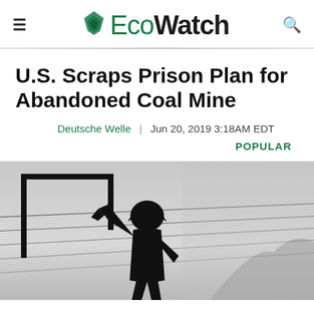≡ EcoWatch 🔍
U.S. Scraps Prison Plan for Abandoned Coal Mine
Deutsche Welle  |  Jun 20, 2019 3:18AM EDT
POPULAR
[Figure (photo): Silhouette of a coal miner figure (sign/statue) with a hard hat and pickaxe against a gray overcast sky, with power lines visible in the background and a mountain silhouette in the distance.]